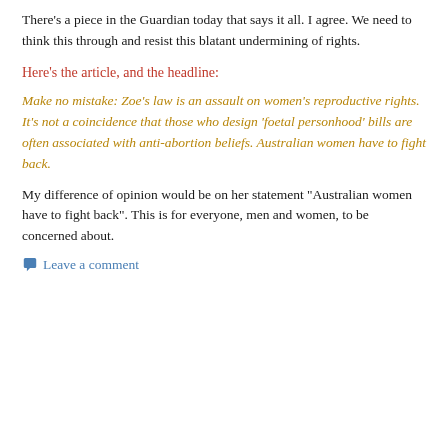There's a piece in the Guardian today that says it all. I agree. We need to think this through and resist this blatant undermining of rights.
Here's the article, and the headline:
Make no mistake: Zoe's law is an assault on women's reproductive rights. It's not a coincidence that those who design 'foetal personhood' bills are often associated with anti-abortion beliefs. Australian women have to fight back.
My difference of opinion would be on her statement "Australian women have to fight back". This is for everyone, men and women, to be concerned about.
Leave a comment